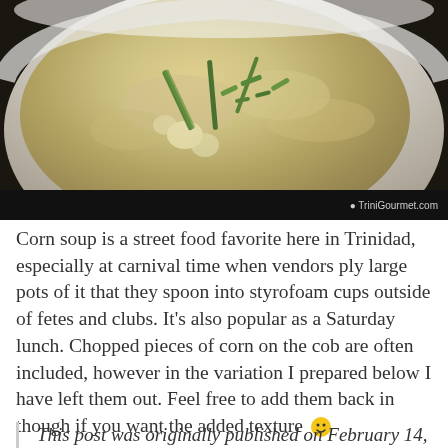[Figure (photo): Close-up photo of corn soup in a white bowl, garnished with green onions/scallions, with a watermark reading TriniGourmet.com on a black bar at the bottom.]
Corn soup is a street food favorite here in Trinidad, especially at carnival time when vendors ply large pots of it that they spoon into styrofoam cups outside of fetes and clubs. It's also popular as a Saturday lunch. Chopped pieces of corn on the cob are often included, however in the variation I prepared below I have left them out. Feel free to add them back in though if you want the added texture 🙂
This post was originally published on February 14, 2007. It has been updated twice since then.